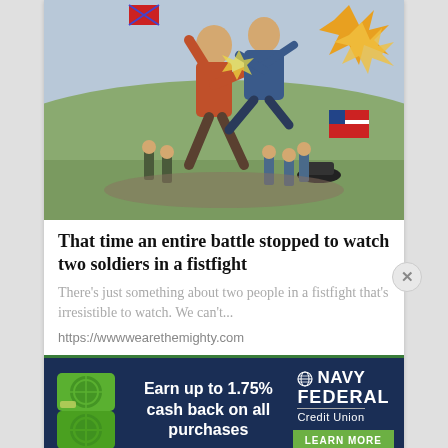[Figure (illustration): Vintage illustrated painting of Civil War battle scene showing two soldiers in a fistfight in the foreground, with soldiers carrying Union and Confederate flags, explosions in the background.]
That time an entire battle stopped to watch two soldiers in a fistfight
There's just something about two people in a fistfight that's irresistible to watch. We can't...
https://wwwwearethemighty.com
[Figure (infographic): Navy Federal Credit Union advertisement banner. Green credit card on left. White text: 'Earn up to 1.75% cash back on all purchases'. Navy Federal Credit Union logo on right with globe icon. Green 'LEARN MORE' button.]